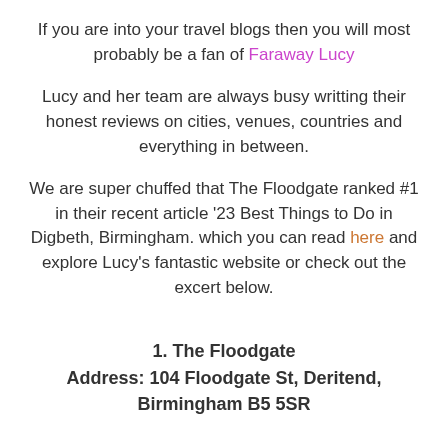If you are into your travel blogs then you will most probably be a fan of Faraway Lucy
Lucy and her team are always busy writting their honest reviews on cities, venues, countries and everything in between.
We are super chuffed that The Floodgate ranked #1 in their recent article '23 Best Things to Do in Digbeth, Birmingham. which you can read here and explore Lucy's fantastic website or check out the excert below.
1. The Floodgate
Address: 104 Floodgate St, Deritend, Birmingham B5 5SR